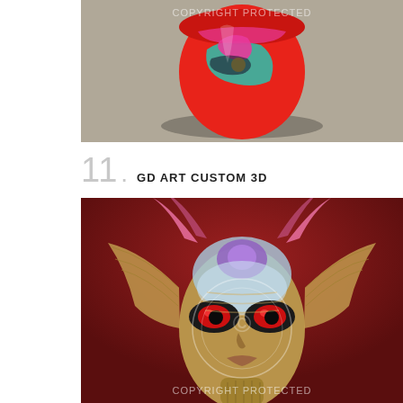[Figure (photo): Photo of a red decorated can/object with colorful graffiti-style artwork on a concrete surface, with COPYRIGHT PROTECTED watermark]
11. GD ART CUSTOM 3D
[Figure (photo): 3D digital art illustration of a surreal alien-like face with metallic gold/silver skin, large dark eyes with red pupils, purple glowing forehead, red background, with COPYRIGHT PROTECTED watermark and circular copyright symbol overlay]